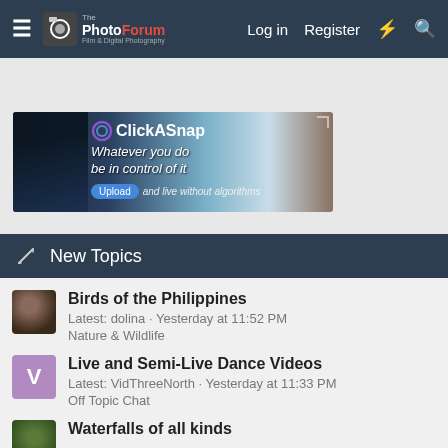ThePhotoForum — Log in  Register
[Figure (photo): ClickASnap advertisement banner: 'Whatever you do be in control of it. Upload and live without algorithms.']
✎ New Topics
Birds of the Philippines
Latest: dolina · Yesterday at 11:52 PM
Nature & Wildlife
Live and Semi-Live Dance Videos
Latest: VidThreeNorth · Yesterday at 11:33 PM
Off Topic Chat
Waterfalls of all kinds